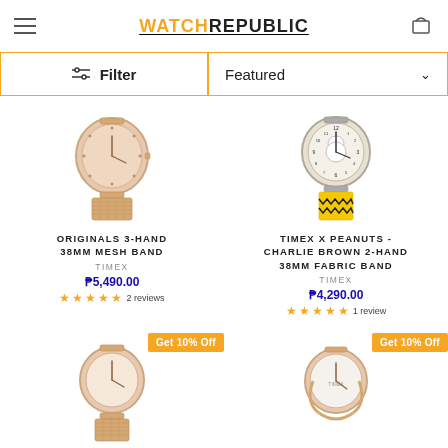WATCH REPUBLIC
Filter | Featured
[Figure (photo): Rose gold mesh band analog watch - Originals 3-Hand 38mm]
ORIGINALS 3-HAND 38MM MESH BAND
TIMEX
₱5,490.00
★★★★★ 2 reviews
[Figure (photo): Timex x Peanuts Charlie Brown watch with yellow fabric zigzag band]
TIMEX X PEANUTS - CHARLIE BROWN 2-HAND 38MM FABRIC BAND
TIMEX
₱4,290.00
★★★★★ 1 review
[Figure (photo): Rose gold mesh band watch with Get 10% Off badge]
[Figure (photo): Rose gold bangle-style watch with Get 10% Off badge]